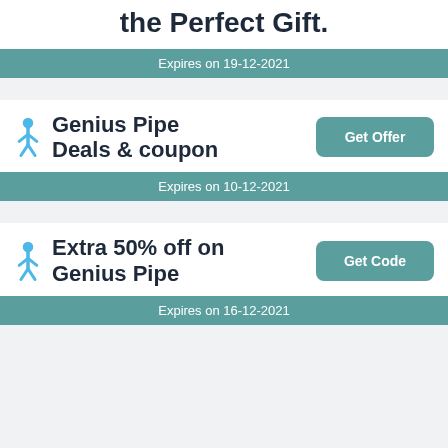the Perfect Gift.
Expires on 19-12-2021
Genius Pipe Deals & coupon
Get Offer
Expires on 10-12-2021
Extra 50% off on Genius Pipe
Get Code
Expires on 16-12-2021